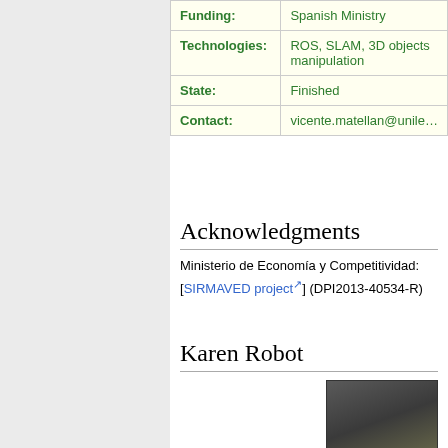| Field | Value |
| --- | --- |
| Funding: | Spanish Ministry |
| Technologies: | ROS, SLAM, 3D objects manipulation |
| State: | Finished |
| Contact: | vicente.matellan@unile... |
Acknowledgments
Ministerio de Economía y Competitividad: [SIRMAVED project] (DPI2013-40534-R)
Karen Robot
[Figure (photo): Photo of Karen Robot, partially visible at bottom right of page]